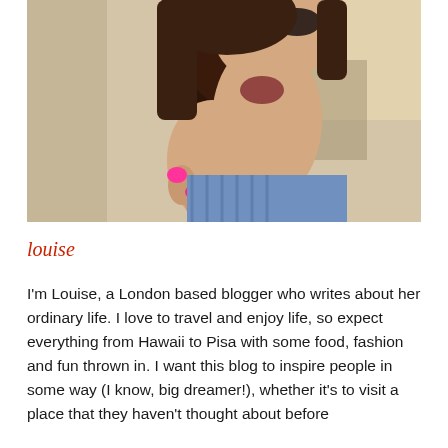[Figure (photo): A woman eating a large chocolate ice cream bar on a stick, wearing a blue gingham sleeveless top and sunglasses, with bright pink nail polish. Outdoor setting.]
louise
I'm Louise, a London based blogger who writes about her ordinary life. I love to travel and enjoy life, so expect everything from Hawaii to Pisa with some food, fashion and fun thrown in. I want this blog to inspire people in some way (I know, big dreamer!), whether it's to visit a place that they haven't thought about before